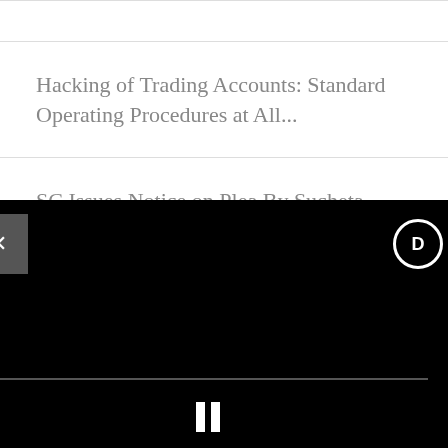Hacking of Trading Accounts: Standard Operating Procedures at All...
SC Issues Notice on Plea By Sucheta Dalal That Information on Unclaimed...
312 Big Wilful Defaulters Owe Rs1.41 Lakh Crore to Public Sector Ba...
Supertech Demolition: